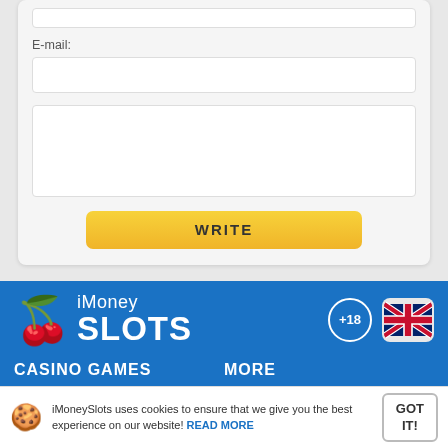E-mail:
[Figure (screenshot): Web form with email input field, large text area, and a yellow WRITE button]
[Figure (logo): iMoneySlots logo with cherry emoji, +18 badge, and UK flag]
CASINO GAMES
MORE
iMoneySlots uses cookies to ensure that we give you the best experience on our website! READ MORE
GOT IT!